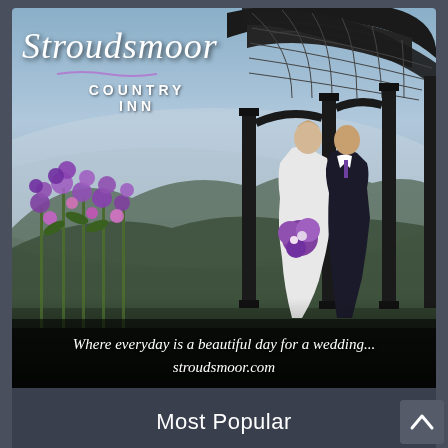[Figure (photo): Advertisement for Stroudsmoor Country Inn showing a wedding couple (bride in white gown, groom in black tuxedo) standing under a decorative iron gazebo with mountain/misty valley views in the background, purple flowers on the left. Logo overlay reads 'Stroudsmoor Country Inn'. Bottom text: 'Where everyday is a beautiful day for a wedding... stroudsmoor.com']
Most Popular
[Figure (photo): Partial image of a second article card showing what appears to be Scrabble tiles on a gray background, partially cut off at the bottom of the page.]